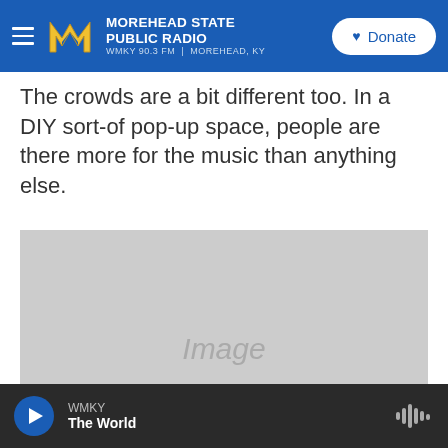MOREHEAD STATE PUBLIC RADIO WMKY 90.3 FM | MOREHEAD, KY — Donate
The crowds are a bit different too. In a DIY sort-of pop-up space, people are there more for the music than anything else.
[Figure (photo): Image placeholder (gray rectangle with italic 'Image' text)]
WMKY — The World (player bar with play button and waveform icon)